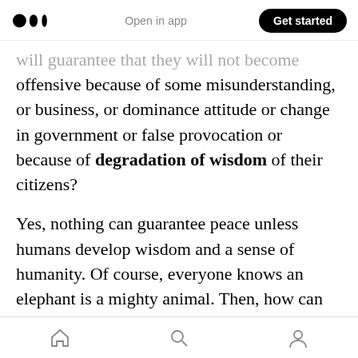Medium logo | Open in app | Get started
will guarantee that they will not become offensive because of some misunderstanding, or business, or dominance attitude or change in government or false provocation or because of degradation of wisdom of their citizens?
Yes, nothing can guarantee peace unless humans develop wisdom and a sense of humanity. Of course, everyone knows an elephant is a mighty animal. Then, how can an ant become a threat to an elephant? If an ant goes into the trunk of an elephant, it can k[ill it], and not only that, it can give a painful death to an elephant. It
Home | Search | Profile